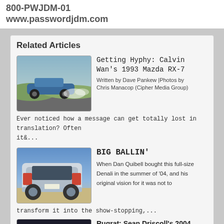800-PWJDM-01
www.passwordjdm.com
Related Articles
[Figure (photo): A blue/teal sports car (Mazda RX-7) drifting on a track with smoke from tires]
Getting Hyphy: Calvin Wan's 1993 Mazda RX-7
Written by Dave Pankew |Photos by Chris Manacop (Cipher Media Group)
Ever noticed how a message can get totally lost in translation? Often it&...
[Figure (photo): A lowered silver/white large SUV (Denali) viewed from rear three-quarter angle in desert setting]
BIG BALLIN'
When Dan Quibell bought this full-size Denali in the summer of '04, and his original vision for it was not to transform it into the show-stopping,...
[Figure (photo): Dark image - partial view of a car, third article thumbnail]
Rugrat: Sean Driscoll's 2004 Scion xB